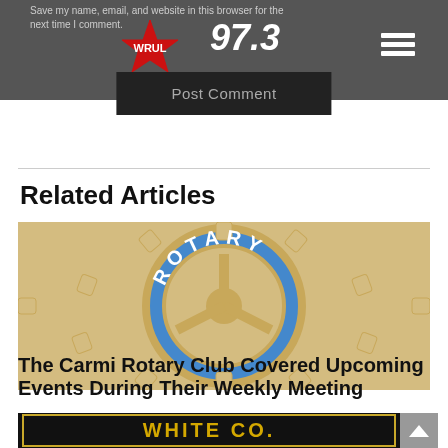Save my name, email, and website in this browser for the next time I comment.
[Figure (logo): WRUL 97.3 radio station logo with red star and white text]
[Figure (other): Hamburger menu icon (three horizontal lines) in white on dark background]
Post Comment
Related Articles
[Figure (photo): Close-up of a Rotary Club emblem/logo showing the gear wheel with ROTARY text in blue]
The Carmi Rotary Club Covered Upcoming Events During Their Weekly Meeting
[Figure (photo): White Co. Sheriff badge/patch in black and gold]